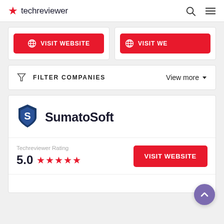techreviewer
[Figure (other): Two partial company cards each with a red VISIT WEBSITE button with globe icon]
FILTER COMPANIES   View more ▾
[Figure (logo): SumatoSoft logo - blue shield with S letter]
SumatoSoft
Techreviewer Rating
5.0 ★★★★★
VISIT WEBSITE